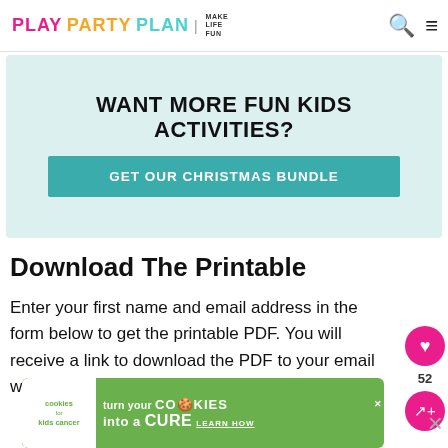PLAY PARTY PLAN | MAKE LIFE FUN
WANT MORE FUN KIDS ACTIVITIES?
GET OUR CHRISTMAS BUNDLE
Download The Printable
Enter your first name and email address in the form below to get the printable PDF. You will receive a link to download the PDF to your email within minutes.
[Figure (infographic): Green advertisement banner for Cookies for Kids Cancer: 'turn your COOKIES into a CURE LEARN HOW']